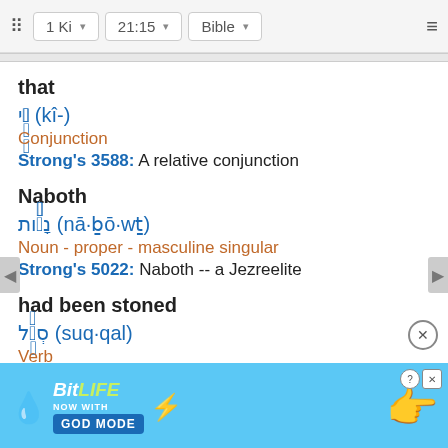1 Ki  21:15  Bible
that
כִּי (kî-)
Conjunction
Strong's 3588: A relative conjunction
Naboth
נָבֹות (nā·ḇō·wṯ)
Noun - proper - masculine singular
Strong's 5022: Naboth -- a Jezreelite
had been stoned
סְקֹל (suq·qal)
Verb
singu
Stron
[Figure (screenshot): BitLife advertisement banner with blue background, sperm mascot, BitLife logo, 'NOW WITH GOD MODE' button, lightning bolt, and pointing hand graphic]